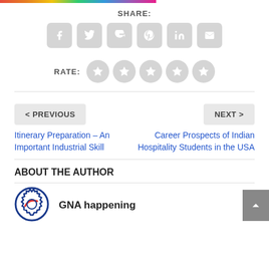[Figure (infographic): Rainbow gradient bar at the top of the page]
SHARE:
[Figure (infographic): Six social sharing icons: Facebook, Twitter, Google+, Pinterest, LinkedIn, Email]
RATE:
[Figure (infographic): Five star rating circles in grey]
< PREVIOUS
Itinerary Preparation – An Important Industrial Skill
NEXT >
Career Prospects of Indian Hospitality Students in the USA
ABOUT THE AUTHOR
[Figure (logo): GNA happening gear/logo icon in blue and red]
GNA happening